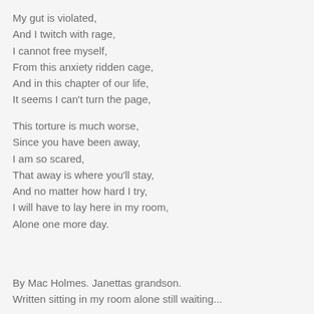My gut is violated,
And I twitch with rage,
I cannot free myself,
From this anxiety ridden cage,
And in this chapter of our life,
It seems I can't turn the page,
This torture is much worse,
Since you have been away,
I am so scared,
That away is where you'll stay,
And no matter how hard I try,
I will have to lay here in my room,
Alone one more day.
By Mac Holmes. Janettas grandson.
Written sitting in my room alone still waiting...